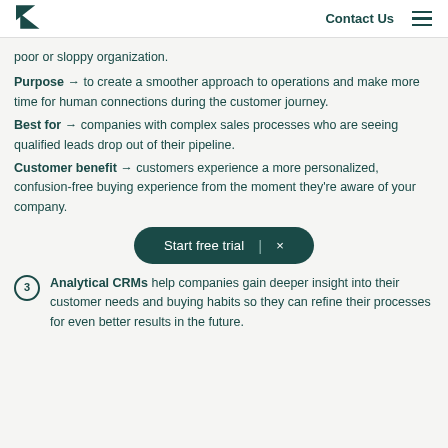Contact Us
poor or sloppy organization.
Purpose → to create a smoother approach to operations and make more time for human connections during the customer journey.
Best for → companies with complex sales processes who are seeing qualified leads drop out of their pipeline.
Customer benefit → customers experience a more personalized, confusion-free buying experience from the moment they're aware of your company.
Start free trial  ×
3. Analytical CRMs help companies gain deeper insight into their customer needs and buying habits so they can refine their processes for even better results in the future.